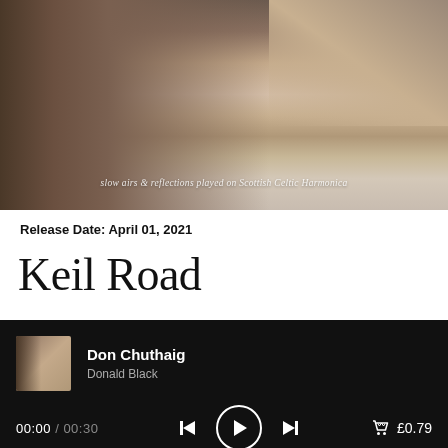[Figure (photo): Sepia-toned album cover photo showing a close-up of fur or grass texture with soft focus, with italic text overlay reading 'slow airs & reflections played on Scottish Celtic Harmonica']
Release Date: April 01, 2021
Keil Road
Don Chuthaig
Donald Black
00:00 / 00:30
£0.79